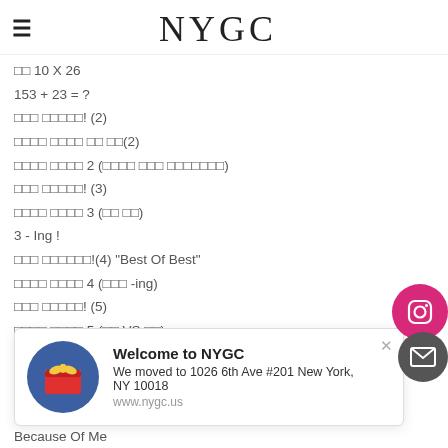NYGC
□□ 10 X 26
153 + 23 = ?
□□□ □□□□□! (2)
□□□□ □□□□ □□ □□(2)
□□□□ □□□□ 2 (□□□□ □□□ □□□□□□□)
□□□ □□□□□! (3)
□□□□ □□□□ 3 (□□ □□)
3 - Ing !
□□□ □□□□□□!(4) "Best Of Best"
□□□□ □□□□ 4 (□□□ -ing)
□□□ □□□□□! (5)
□□□□ □□□□ 5 (□□ VS □□)
□□□□ □□□□ 6 (But VS And)
Welcome to NYGC
We moved to 1026 6th Ave #201 New York, NY 10018
www.nygc.us
Because Of Me